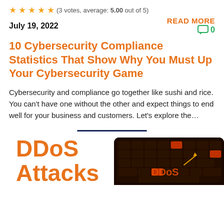(3 votes, average: 5.00 out of 5)
READ MORE
July 19, 2022
0
10 Cybersecurity Compliance Statistics That Show Why You Must Up Your Cybersecurity Game
Cybersecurity and compliance go together like sushi and rice. You can't have one without the other and expect things to end well for your business and customers. Let's explore the…
[Figure (illustration): Horizontal navy blue divider line]
DDoS Attacks
[Figure (photo): Close-up photo of a dark keyboard with orange-red backlight and 'DDoS' text visible on keys]